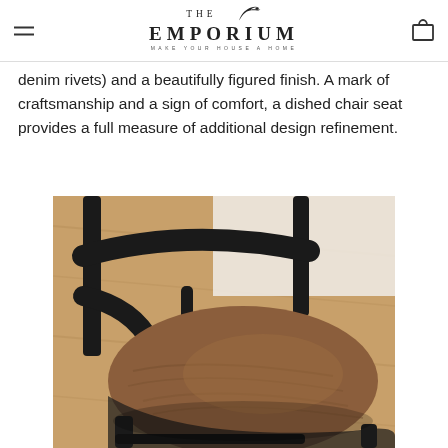THE EMPORIUM — MAKE YOUR HOUSE A HOME
denim rivets) and a beautifully figured finish. A mark of craftsmanship and a sign of comfort, a dished chair seat provides a full measure of additional design refinement.
[Figure (photo): Close-up photo of a wooden chair seat with warm brown wood grain and black painted frame/legs, shot from above at an angle on a wooden floor background.]